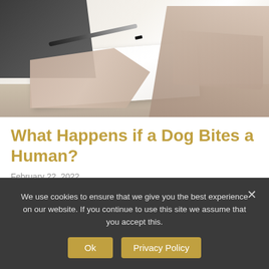[Figure (photo): Two people at a desk exchanging documents; one hand holds a pen over papers while the other person clasps their hands across the table.]
What Happens if a Dog Bites a Human?
February 22, 2022
Hoyt & Hoyt Explains: What Happens if a Dog Bites a Human
When a dog bites a human in North Carolina...
We use cookies to ensure that we give you the best experience on our website. If you continue to use this site we assume that you accept this.